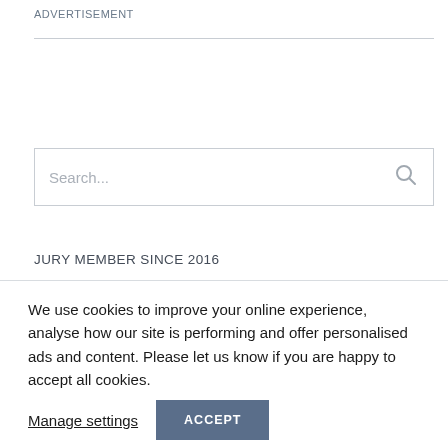ADVERTISEMENT
[Figure (other): Search input box with placeholder text 'Search...' and a magnifying glass icon on the right]
JURY MEMBER SINCE 2016
We use cookies to improve your online experience, analyse how our site is performing and offer personalised ads and content. Please let us know if you are happy to accept all cookies.
Manage settings
ACCEPT